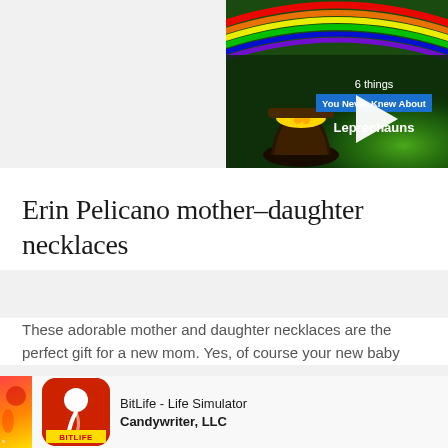[Figure (screenshot): Video thumbnail showing a pot of gold with rainbow in background and play button overlay with text '6 Things You Never Knew About Leprechauns']
Erin Pelicano mother-daughter necklaces
These adorable mother and daughter necklaces are the perfect gift for a new mom. Yes, of course your new baby
[Figure (screenshot): BitLife Life Simulator app advertisement with red icon showing sperm graphic and BitLife label, with text 'BitLife - Life Simulator' and 'Candywriter, LLC']